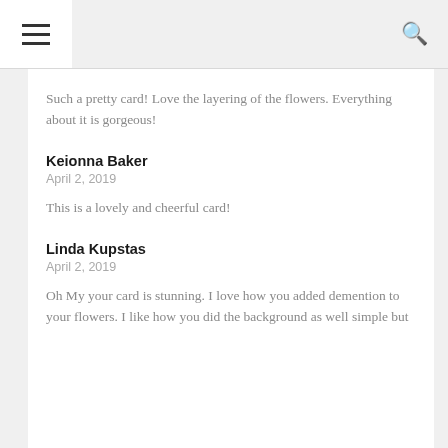≡  🔍
Such a pretty card! Love the layering of the flowers. Everything about it is gorgeous!
Keionna Baker
April 2, 2019
This is a lovely and cheerful card!
Linda Kupstas
April 2, 2019
Oh My your card is stunning. I love how you added demention to your flowers. I like how you did the background as well simple but